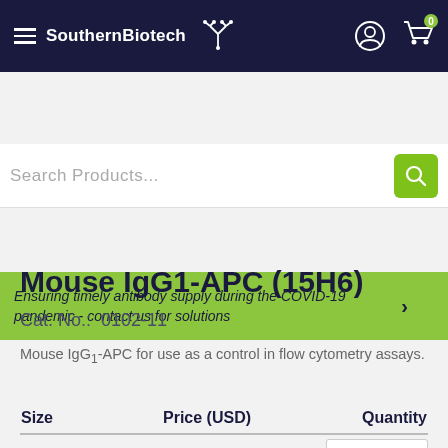SouthernBiotech
Search Products...
Ensuring timely antibody supply during the COVID-19 pandemic - contact us for solutions
Home > Mouse IgG1-APC (15H6)
Mouse IgG1-APC (15H6)
Cat. No.: 0102-11
Mouse IgG1-APC for use as a control in flow cytometry assays.
| Size | Price (USD) | Quantity |
| --- | --- | --- |